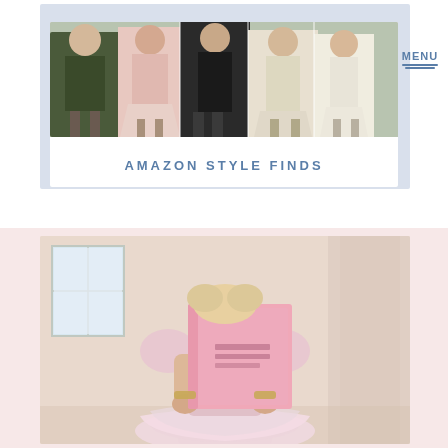[Figure (photo): Fashion card with multiple women in stylish outfits forming a banner image, with 'AMAZON STYLE FINDS' text below, on a blue-grey card background. A MENU button appears to the right.]
AMAZON STYLE FINDS
MENU
[Figure (photo): A woman in a pink long-sleeve top, wide sparkly belt, and pink tulle skirt, sitting and holding up a pink book/planner in front of her face. Background is a warm, textured beige/pink room with a window.]